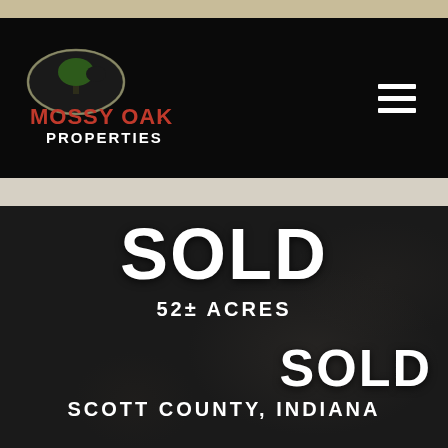[Figure (logo): Mossy Oak Properties logo — oval with tree silhouette, red text MOSSY OAK, white text PROPERTIES]
SOLD
52± ACRES
SOLD
SCOTT COUNTY, INDIANA